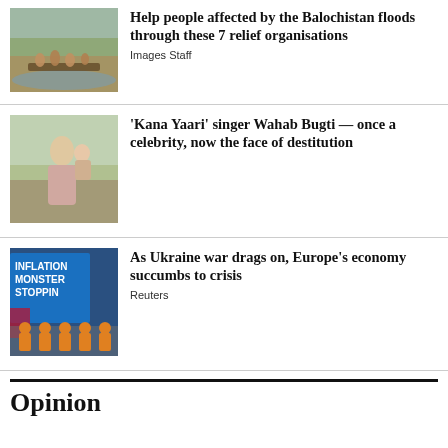[Figure (photo): People affected by Balochistan floods on a raft in floodwater]
Help people affected by the Balochistan floods through these 7 relief organisations
Images Staff
[Figure (photo): Man holding a child standing near floodwater and damaged road]
'Kana Yaari' singer Wahab Bugti — once a celebrity, now the face of destitution
[Figure (photo): Workers in orange vests sitting in front of an Inflation Monster Stopping banner]
As Ukraine war drags on, Europe's economy succumbs to crisis
Reuters
Opinion